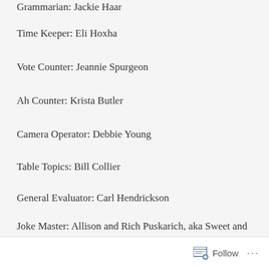Grammarian: Jackie Haar
Time Keeper: Eli Hoxha
Vote Counter: Jeannie Spurgeon
Ah Counter: Krista Butler
Camera Operator: Debbie Young
Table Topics: Bill Collier
General Evaluator: Carl Hendrickson
Joke Master: Allison and Rich Puskarich, aka Sweet and Salty
Speakers and Evaluators:
Follow ...